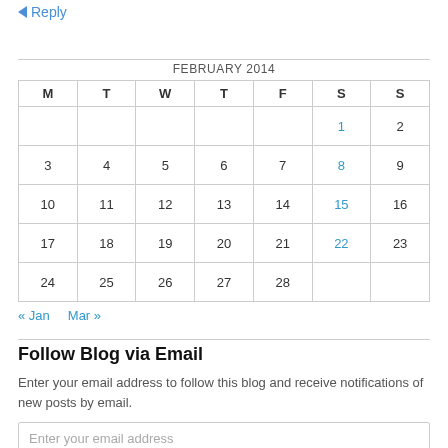Reply
| M | T | W | T | F | S | S |
| --- | --- | --- | --- | --- | --- | --- |
|  |  |  |  |  | 1 | 2 |
| 3 | 4 | 5 | 6 | 7 | 8 | 9 |
| 10 | 11 | 12 | 13 | 14 | 15 | 16 |
| 17 | 18 | 19 | 20 | 21 | 22 | 23 |
| 24 | 25 | 26 | 27 | 28 |  |  |
« Jan    Mar »
Follow Blog via Email
Enter your email address to follow this blog and receive notifications of new posts by email.
Enter your email address